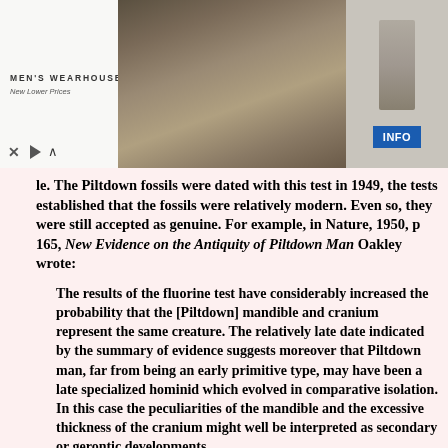[Figure (photo): Men's Wearhouse advertisement banner showing a man and woman in formal wear, a man in grey suit, and an INFO button. Ad controls (X and play button) visible at bottom left.]
le. The Piltdown fossils were dated with this test in 1949, the tests established that the fossils were relatively modern. Even so, they were still accepted as genuine. For example, in Nature, 1950, p 165, New Evidence on the Antiquity of Piltdown Man Oakley wrote:
The results of the fluorine test have considerably increased the probability that the [Piltdown] mandible and cranium represent the same creature. The relatively late date indicated by the summary of evidence suggests moreover that Piltdown man, far from being an early primitive type, may have been a late specialized hominid which evolved in comparative isolation. In this case the peculiarities of the mandible and the excessive thickness of the cranium might well be interpreted as secondary or gerontic developments.
In 1925 Edmonds had pointed out that Dawson was in error in